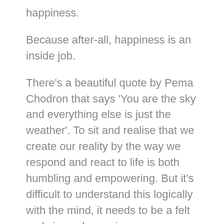happiness.
Because after-all, happiness is an inside job.
There's a beautiful quote by Pema Chodron that says 'You are the sky and everything else is just the weather'. To sit and realise that we create our reality by the way we respond and react to life is both humbling and empowering. But it's difficult to understand this logically with the mind, it needs to be a felt and visceral experience.
In this episode I intermingle the story of